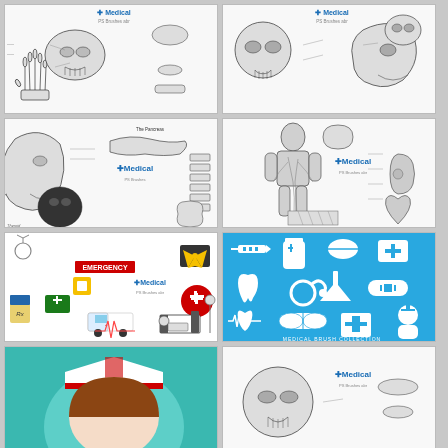[Figure (illustration): Medical PS Brushes anatomical illustration showing skeletal hand, skull, bones, and other anatomical structures with labels]
[Figure (illustration): Medical PS Brushes anatomical illustration showing skull from multiple angles with detailed labels]
[Figure (illustration): Medical PS Brushes anatomical illustration showing pancreas, thyroid, head profile, spine, kidneys and other organs]
[Figure (illustration): Medical PS Brushes anatomical illustration showing human body circulatory system, kidneys, bladder, heart and skin cross-section]
[Figure (illustration): Medical PS Brushes colorful medical icons including emergency sign, ambulance, first aid, radiation symbol, prescription bottle, ECG, hospital bed]
[Figure (illustration): Medical Brush Collection - blue background with white medical icons: syringe, medicine bottle, pill, first aid kit, tooth, stethoscope, flask, bandage, heart, capsule, cross, nurse]
[Figure (illustration): Partial view of medical illustration with teal/green background showing nurse cap]
[Figure (illustration): Partial view of Medical PS Brushes anatomical illustration showing skull and other structures]